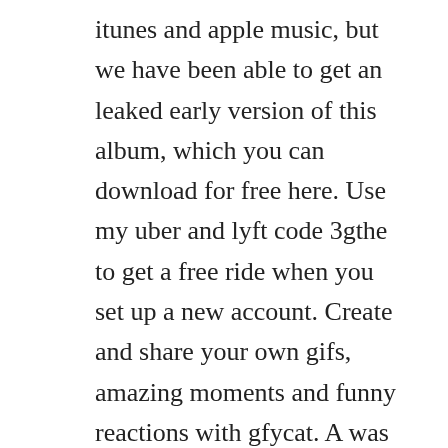itunes and apple music, but we have been able to get an leaked early version of this album, which you can download for free here. Use my uber and lyft code 3gthe to get a free ride when you set up a new account. Create and share your own gifs, amazing moments and funny reactions with gfycat. A was an american hip hop group from compton, california. Released august 14th, 2015, straight outta compton stars oshea jackson jr.
Full movie online free in 1987, five young men, using brutally honest rhymes and